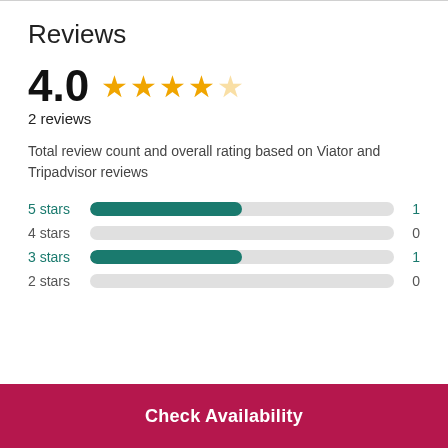Reviews
4.0  ★★★★☆
2 reviews
Total review count and overall rating based on Viator and Tripadvisor reviews
[Figure (bar-chart): Star rating distribution]
Check Availability